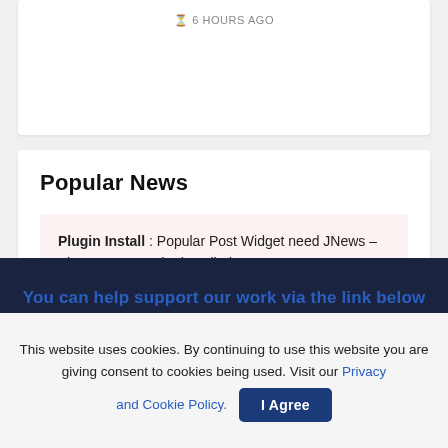6 HOURS AGO
Popular News
Plugin Install : Popular Post Widget need JNews – View Counter to be installed
You can help support our work via the link below
This website uses cookies. By continuing to use this website you are giving consent to cookies being used. Visit our Privacy and Cookie Policy.  I Agree